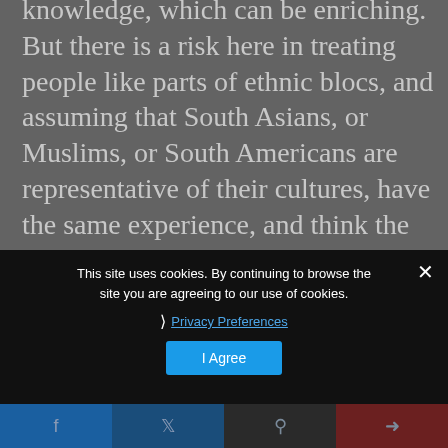knowledge, which can be enriching. But there is a risk here in treating people like parts of ethnic blocs, and assuming that South Asians, or Muslims, or South Americans are representative of their cultures, have the same experience, and think the same way. Such a view of diversity could in fact undermine social and cultural strength.
This site uses cookies. By continuing to browse the site you are agreeing to our use of cookies.
❯ Privacy Preferences
I Agree